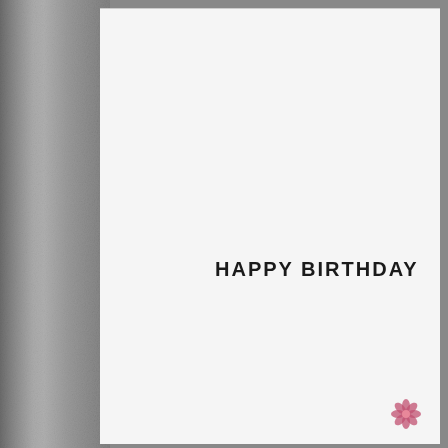[Figure (photo): Photograph of the inside of a birthday card. The left portion shows a silver/metallic textured background. The right portion is a white card interior with the text 'HAPPY BIRTHDAY' printed in a tall, narrow decorative font in the center, and a small pink floral decoration visible in the bottom-right corner.]
HAPPY BIRTHDAY